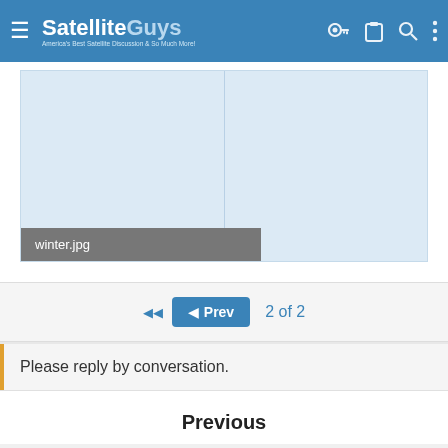SatelliteGuys — America's Best Satellite Discussion & So Much More!
[Figure (screenshot): Two-panel light blue image placeholder area showing an attached image file named 'winter.jpg'. The left and right panels are separated by a thin line. A grey label bar at the bottom left reads 'winter.jpg'.]
2 of 2
Please reply by conversation.
Previous